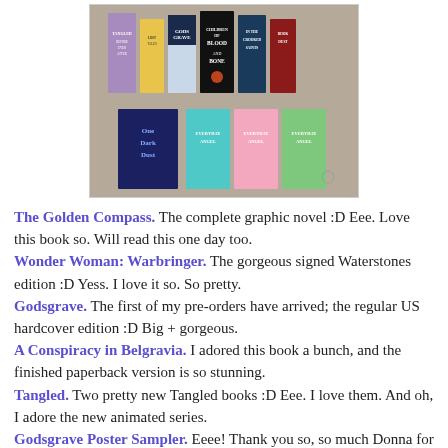[Figure (photo): A flat lay photo of multiple book covers arranged in two rows on a wooden surface, including titles like Blood and Bone, Godsgrave, One Dark Dust, Everyday Angel series, and others.]
The Golden Compass. The complete graphic novel :D Eee. Love this book so. Will read this one day too.
Wonder Woman: Warbringer. The gorgeous signed Waterstones edition :D Yess. I love it so. So pretty.
Godsgrave. The first of my pre-orders have arrived; the regular US hardcover edition :D Big + gorgeous.
A Conspiracy in Belgravia. I adored this book a bunch, and the finished paperback version is so stunning.
Tangled. Two pretty new Tangled books :D Eee. I love them. And oh, I adore the new animated series.
Godsgrave Poster Sampler. Eeee! Thank you so, so much Donna for sending me this one <3 I luv it so.